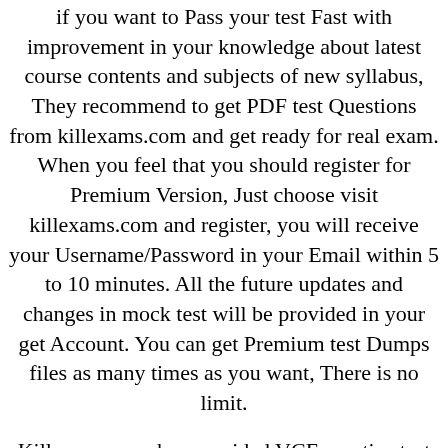if you want to Pass your test Fast with improvement in your knowledge about latest course contents and subjects of new syllabus, They recommend to get PDF test Questions from killexams.com and get ready for real exam. When you feel that you should register for Premium Version, Just choose visit killexams.com and register, you will receive your Username/Password in your Email within 5 to 10 minutes. All the future updates and changes in mock test will be provided in your get Account. You can get Premium test Dumps files as many times as you want, There is no limit.
Killexams.com has provided VCE practice test Software to Practice your test by Taking Test Exam, then Instantly Book your test.